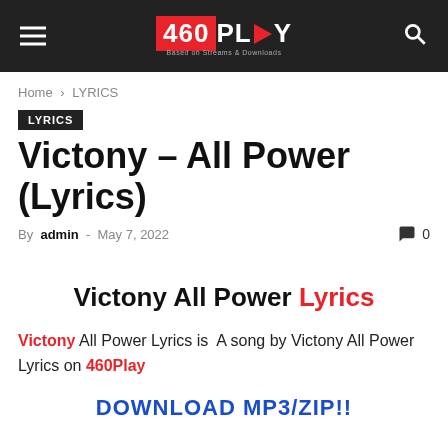460PLAY | Based on Streams & Downloads
Home › LYRICS
LYRICS
Victony – All Power (Lyrics)
By admin - May 7, 2022   0
Victony All Power Lyrics
Victony All Power Lyrics is  A song by Victony All Power Lyrics on 460Play
DOWNLOAD MP3/ZIP!!